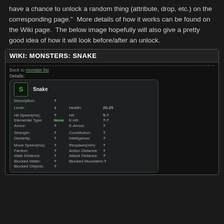have a chance to unlock a random thing (attribute, drop, etc.) on the corresponding page."  More details of how it works can be found on the Wiki page.  The below image hopefully will also give a pretty good idea of how it will look before/after an unlock.
[Figure (screenshot): Screenshot of a wiki page showing monster details for 'Snake'. Contains fields: Description ?, Level 1, Health 20-25, Hit Speed(ms) ?, Hit 5-?, Elemental Type None, E-Hit 7-?, Armor ?, E-Armor ?, Strength ?, Constitution ?, Dexterity ?, Intelligence ?, Move Speed(ms) ?, Respawn(min) ?, Faction ?, Action Distance ?, Walk Distance ?, Attack Distance ?, Blocked Water ?, Blocked Mountains ?, Blocked Objects ?]